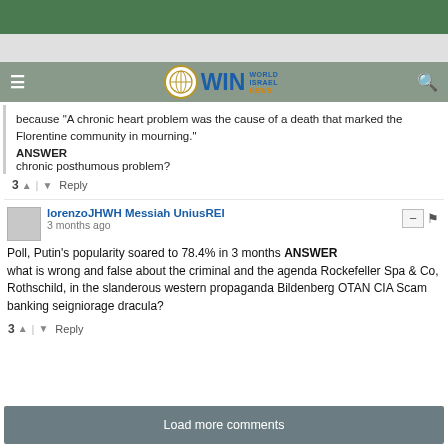World Israel News - WIN navigation bar
because "A chronic heart problem was the cause of a death that marked the Florentine community in mourning." ANSWER chronic posthumous problem?
3 ↑ | ↓ Reply
lorenzoJHWH Messiah UniusREI
3 months ago
Poll, Putin's popularity soared to 78.4% in 3 months ANSWER what is wrong and false about the criminal and the agenda Rockefeller Spa & Co, Rothschild, in the slanderous western propaganda Bildenberg OTAN CIA Scam banking seigniorage dracula?
3 ↑ | ↓ Reply
Load more comments